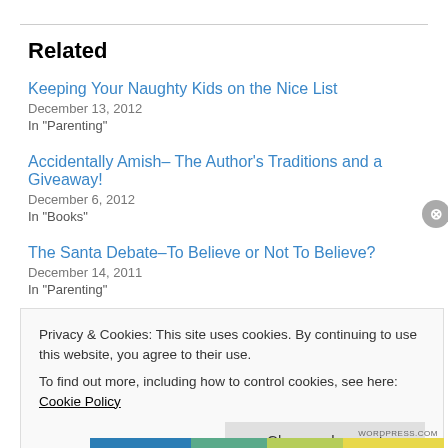Related
Keeping Your Naughty Kids on the Nice List
December 13, 2012
In "Parenting"
Accidentally Amish– The Author's Traditions and a Giveaway!
December 6, 2012
In "Books"
The Santa Debate–To Believe or Not To Believe?
December 14, 2011
In "Parenting"
Privacy & Cookies: This site uses cookies. By continuing to use this website, you agree to their use.
To find out more, including how to control cookies, see here: Cookie Policy